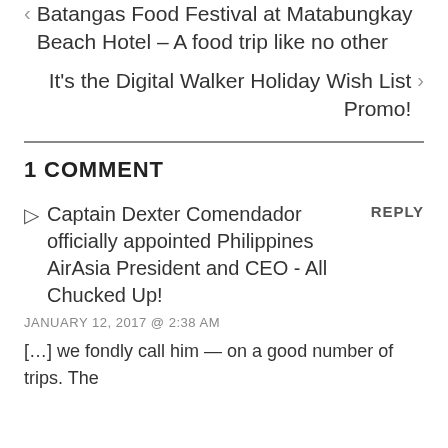Batangas Food Festival at Matabungkay Beach Hotel – A food trip like no other
It's the Digital Walker Holiday Wish List Promo!
1 COMMENT
Captain Dexter Comendador officially appointed Philippines AirAsia President and CEO - All Chucked Up!
JANUARY 12, 2017 @ 2:38 AM
[...] we fondly call him — on a good number of trips. The